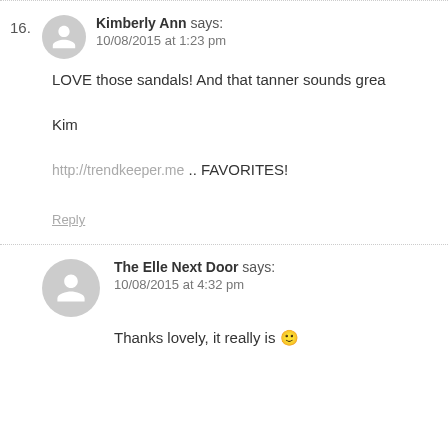16. Kimberly Ann says: 10/08/2015 at 1:23 pm
LOVE those sandals! And that tanner sounds grea
Kim
http://trendkeeper.me .. FAVORITES!
Reply
The Elle Next Door says: 10/08/2015 at 4:32 pm
Thanks lovely, it really is 😊